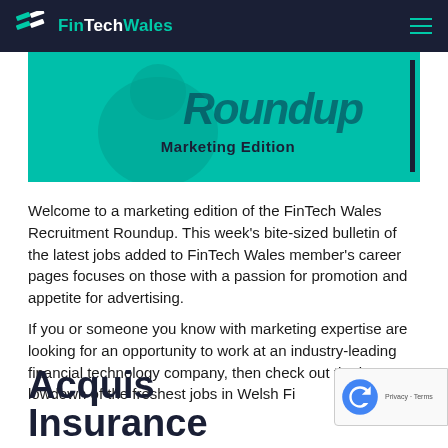FinTechWales
[Figure (photo): Teal/green hero banner image with text 'Roundup Marketing Edition' and a vertical dark bar on the right side. Background shows a faded person working.]
Welcome to a marketing edition of the FinTech Wales Recruitment Roundup. This week’s bite-sized bulletin of the latest jobs added to FinTech Wales member’s career pages focuses on those with a passion for promotion and appetite for advertising.
If you or someone you know with marketing expertise are looking for an opportunity to work at an industry-leading financial technology company, then check out the latest lowdown of the freshest jobs in Welsh Fi
Acquis Insurance